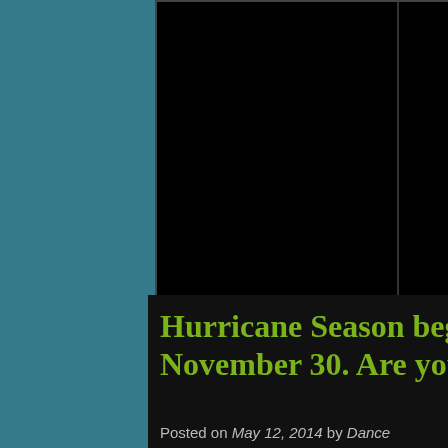[Figure (photo): Black photograph/image area showing two panels side by side]
and power poles will isolate residential areas.
4. Power outages will last for weeks to possibly months.
5. Most of the area will be uninhabitable for weeks or months.
Hurricane Season begins June 1 and ends November 30. Are you prepared?
Posted on May 12, 2014 by Dance